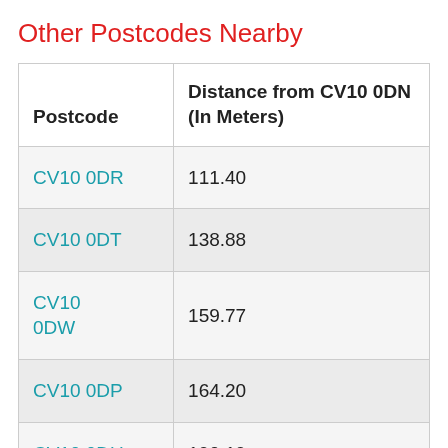Other Postcodes Nearby
| Postcode | Distance from CV10 0DN (In Meters) |
| --- | --- |
| CV10 0DR | 111.40 |
| CV10 0DT | 138.88 |
| CV10 0DW | 159.77 |
| CV10 0DP | 164.20 |
| CV10 0DU | 190.19 |
| CV10 0DJ | 200.00 |